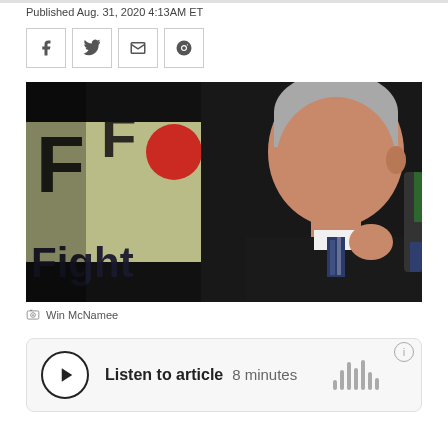Published Aug. 31, 2020 4:13AM ET
[Figure (photo): Man in dark suit speaking at podium with 'Fight' text visible on banner behind him. Photo credit: Win McNamee]
Win McNamee
Listen to article  8 minutes